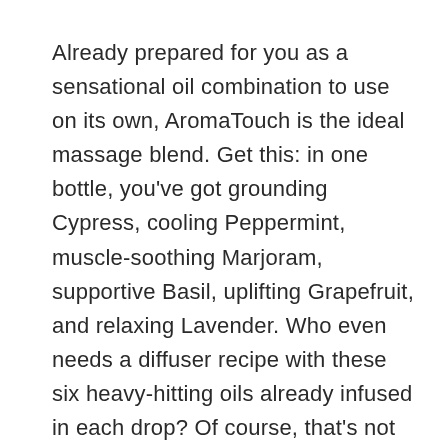Already prepared for you as a sensational oil combination to use on its own, AromaTouch is the ideal massage blend. Get this: in one bottle, you've got grounding Cypress, cooling Peppermint, muscle-soothing Marjoram, supportive Basil, uplifting Grapefruit, and relaxing Lavender. Who even needs a diffuser recipe with these six heavy-hitting oils already infused in each drop? Of course, that's not to say you can't diffuse AromaTouch within a larger blend. To prove my point, here's one that would work to transforms your space into...